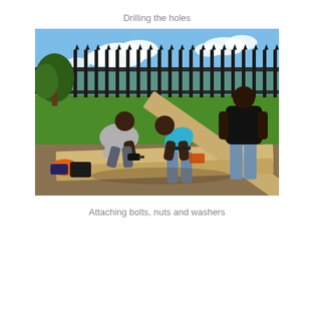Drilling the holes
[Figure (photo): Three men working outdoors on wooden beams laid on the ground in a cross/frame shape. One man crouches and operates a power drill on the wood, another man in a cyan/teal shirt bends over to assist, and a third man in a black shirt stands watching. The setting is a grassy area with a metal spike fence in the background, trees, and a clear blue sky with some clouds. There are tools and an orange extension cord visible on the ground.]
Attaching bolts, nuts and washers